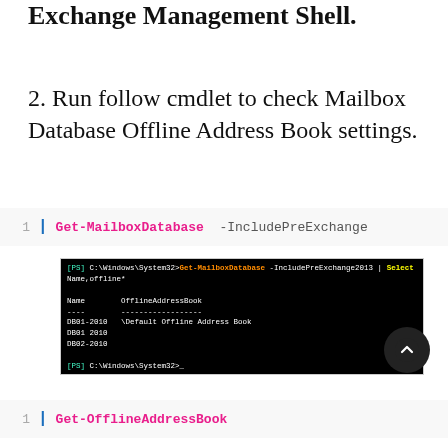Exchange Management Shell.
2. Run follow cmdlet to check Mailbox Database Offline Address Book settings.
1 | Get-MailboxDatabase -IncludePreExchange
[Figure (screenshot): Terminal screenshot showing PowerShell command output: Get-MailboxDatabase -IncludePreExchange2013 | Select Name,offline* with results showing Name and OfflineAddressBook columns listing DB01-2010 \Default Offline Address Book, DB01 2010, DB02-2010]
1 | Get-OfflineAddressBook